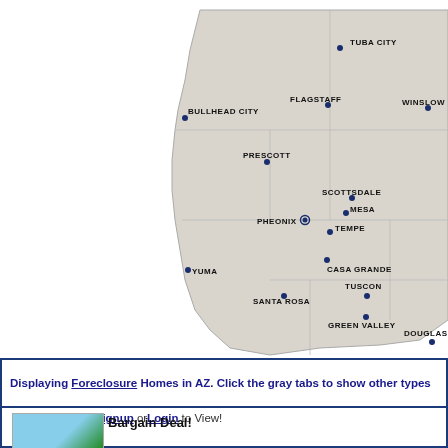[Figure (map): Map of Arizona showing cities: Tuba City, Flagstaff, Winslow, Bullhead City, Prescott, Scottsdale, Mesa, Pheonix, Tempe, Yuma, Casa Grande, Santa Rosa, Tuscon, Green Valley, Douglas]
Displaying Foreclosure Homes in AZ. Click the gray tabs to show other types
Chandler, AZ - Signup or Login to View!
Bargain Deal!